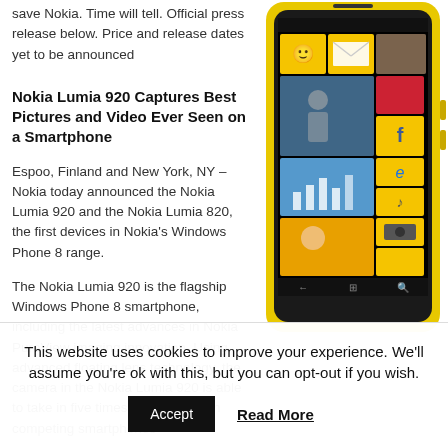save Nokia. Time will tell. Official press release below. Price and release dates yet to be announced
[Figure (photo): Nokia Lumia 920 smartphone in yellow color showing Windows Phone 8 live tiles interface]
Nokia Lumia 920 Captures Best Pictures and Video Ever Seen on a Smartphone
Espoo, Finland and New York, NY – Nokia today announced the Nokia Lumia 920 and the Nokia Lumia 820, the first devices in Nokia's Windows Phone 8 range.
The Nokia Lumia 920 is the flagship Windows Phone 8 smartphone, including the latest advances in Nokia PureView imaging innovation. Using advanced floating lens technology, the camera in the Nokia Lumia 920 is able to take in five times more light than competing smartphones
This website uses cookies to improve your experience. We'll assume you're ok with this, but you can opt-out if you wish.